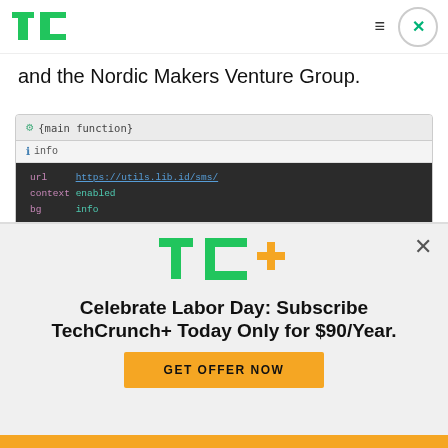TechCrunch logo, hamburger menu, close button
and the Nordic Makers Venture Group.
[Figure (screenshot): A code editor/API UI screenshot showing a main function with info fields (url: https://utils.lib.id/sms/, context: enabled, bg: info) and parameters section with a [string] type 'to (required)' field with placeholder 416-000-0000 and description 'Phone number to send message to']
[Figure (infographic): TechCrunch+ subscription promotional overlay: 'Celebrate Labor Day: Subscribe TechCrunch+ Today Only for $90/Year.' with GET OFFER NOW button]
Celebrate Labor Day: Subscribe TechCrunch+ Today Only for $90/Year.
GET OFFER NOW